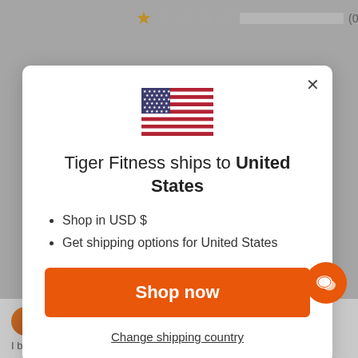[Figure (screenshot): Background page showing a 1-star rating row with empty rating bar and (0) count, plus a partial product review at the bottom with 5 orange stars and text 'Taste good' and partial review text.]
[Figure (illustration): US flag emoji displayed centered in modal dialog]
Tiger Fitness ships to United States
Shop in USD $
Get shipping options for United States
Shop now
Change shipping country